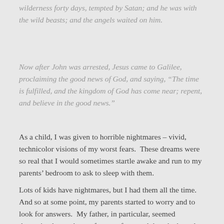wilderness forty days, tempted by Satan; and he was with the wild beasts; and the angels waited on him.
Now after John was arrested, Jesus came to Galilee, proclaiming the good news of God, and saying, “The time is fulfilled, and the kingdom of God has come near; repent, and believe in the good news.”
As a child, I was given to horrible nightmares – vivid, technicolor visions of my worst fears.  These dreams were so real that I would sometimes startle awake and run to my parents’ bedroom to ask to sleep with them.
Lots of kids have nightmares, but I had them all the time.  And so at some point, my parents started to worry and to look for answers.  My father, in particular, seemed determined to make me face my fears and thus, he hoped, to vanquish them.